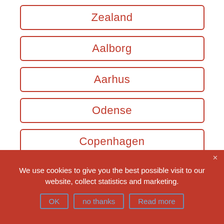Zealand
Aalborg
Aarhus
Odense
Copenhagen
We use cookies to give you the best possible visit to our website, collect statistics and marketing.
OK   no thanks   Read more